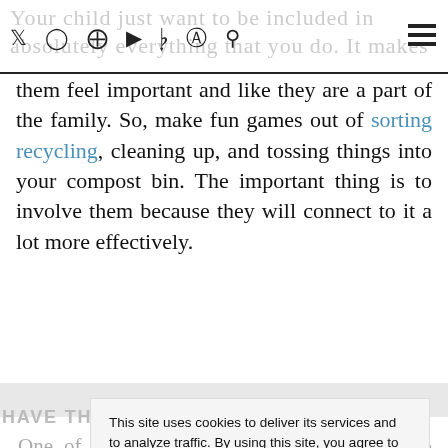Your child just want to be included in absolutely everything that you do. It makes
them feel important and like they are a part of the family. So, make fun games out of sorting recycling, cleaning up, and tossing things into your compost bin. The important thing is to involve them because they will connect to it a lot more effectively.
HAVE THEM HELP YOU IN THE KITCHEN
One of the most wasteful things that you do without even realizing it is eating highly processed foods. Sure, it's not great for your body. But processed foods often come with excessive packaging. When you cook with fresh
This site uses cookies to deliver its services and to analyze traffic. By using this site, you agree to its use of cookies. Learn more
OK